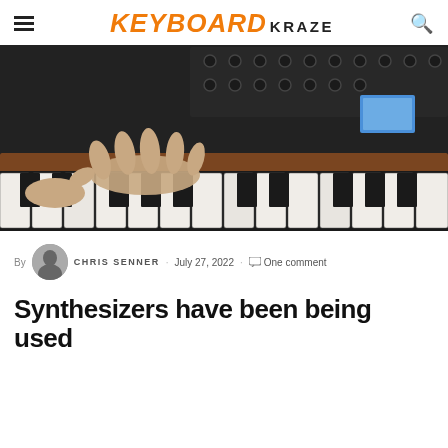KEYBOARD KRAZE
[Figure (photo): Person playing keys on a synthesizer keyboard with large modular synth panel visible in the background with knobs and a blue display screen]
By CHRIS SENNER · July 27, 2022 · One comment
Synthesizers have been being used